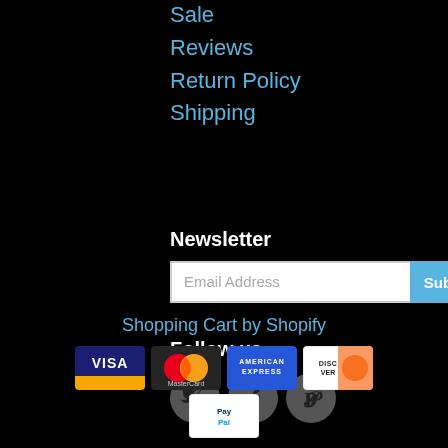Sale
Reviews
Return Policy
Shipping
Newsletter
Email Address
Follow us
[Figure (illustration): Social media icons: Twitter, Facebook, Pinterest]
Shopping Cart by Shopify
[Figure (illustration): Payment icons: Visa, Mastercard, American Express, Discover, PayPal]